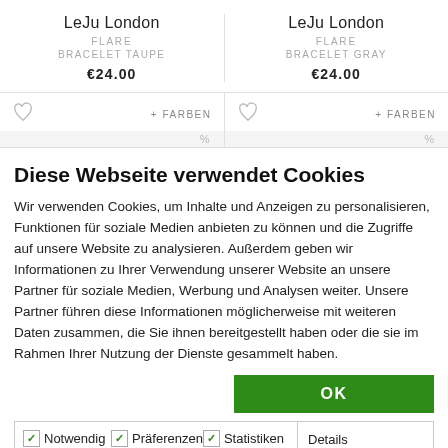LeJu London / FLARE / BRACELET TAUPE / €24.00 | LeJu London / FLARE / BRACELET GRAY / €24.00
+ FARBEN | + FARBEN
Diese Webseite verwendet Cookies
Wir verwenden Cookies, um Inhalte und Anzeigen zu personalisieren, Funktionen für soziale Medien anbieten zu können und die Zugriffe auf unsere Website zu analysieren. Außerdem geben wir Informationen zu Ihrer Verwendung unserer Website an unsere Partner für soziale Medien, Werbung und Analysen weiter. Unsere Partner führen diese Informationen möglicherweise mit weiteren Daten zusammen, die Sie ihnen bereitgestellt haben oder die sie im Rahmen Ihrer Nutzung der Dienste gesammelt haben.
OK
Notwendig | Präferenzen | Statistiken | Marketing | Details zeigen